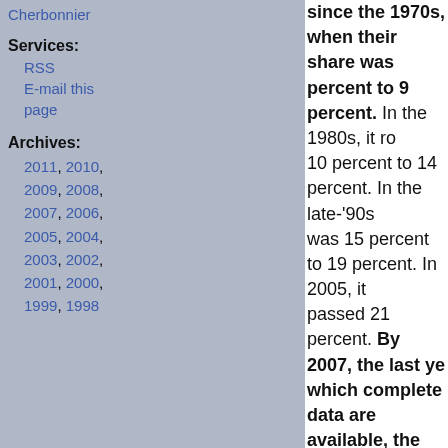Cherbonnier
Services:
RSS
E-mail this page
Archives:
2011, 2010, 2009, 2008, 2007, 2006, 2005, 2004, 2003, 2002, 2001, 2000, 1999, 1998
since the 1970s, when their share was percent to 9 percent. In the 1980s, it ro 10 percent to 14 percent. In the late-'90s was 15 percent to 19 percent. In 2005, it passed 21 percent. By 2007, the last ye which complete data are available, the richest 1 percent were taking more tha percent of all income.
Those data describe a social revolution. In the top one percent received eight percent of natio By 2007, their share had tripled, to 23 percent. went on to state a concomitant point: “A male w earning the median wage in 2007 earned less t median wage, adjusted for inflation, of a male w years earlier.”
The rich have gotten a great deal richer. Every stood still.
At Slate, Timothy Noah has completed his serie massive rise in inequality. We’ll likely discuss h the coming weeks. For now, we’ll only suggest yourself this:
In the face of that staggering social revolution, aware of any politics or political messaging on a which has tried to encompass this revolution? H entities even tried to make the public aware of